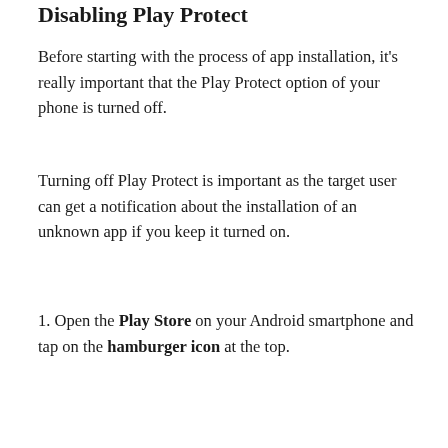Disabling Play Protect
Before starting with the process of app installation, it's really important that the Play Protect option of your phone is turned off.
Turning off Play Protect is important as the target user can get a notification about the installation of an unknown app if you keep it turned on.
1. Open the Play Store on your Android smartphone and tap on the hamburger icon at the top.